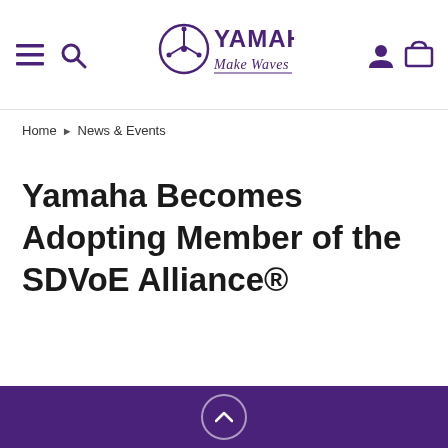Yamaha Make Waves — navigation header with hamburger menu, search, logo, user and cart icons
Home › News & Events
Yamaha Becomes Adopting Member of the SDVoE Alliance®
Back to top button on purple footer bar